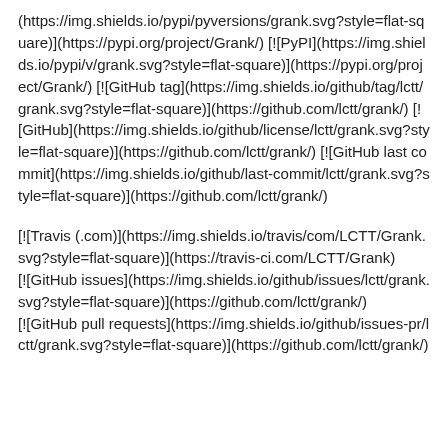(https://img.shields.io/pypi/pyversions/grank.svg?style=flat-square)](https://pypi.org/project/Grank/) [![PyPI](https://img.shields.io/pypi/v/grank.svg?style=flat-square)](https://pypi.org/project/Grank/) [![GitHub tag](https://img.shields.io/github/tag/lctt/grank.svg?style=flat-square)](https://github.com/lctt/grank/) [![GitHub](https://img.shields.io/github/license/lctt/grank.svg?style=flat-square)](https://github.com/lctt/grank/) [![GitHub last commit](https://img.shields.io/github/last-commit/lctt/grank.svg?style=flat-square)](https://github.com/lctt/grank/)
[![Travis (.com)](https://img.shields.io/travis/com/LCTT/Grank.svg?style=flat-square)](https://travis-ci.com/LCTT/Grank)
[![GitHub issues](https://img.shields.io/github/issues/lctt/grank.svg?style=flat-square)](https://github.com/lctt/grank/)
[![GitHub pull requests](https://img.shields.io/github/issues-pr/lctt/grank.svg?style=flat-square)](https://github.com/lctt/grank/)